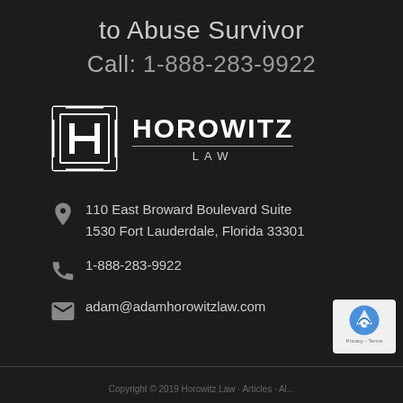to Abuse Survivor
Call: 1-888-283-9922
[Figure (logo): Horowitz Law logo — stylized H in a square bracket emblem with 'HOROWITZ LAW' text]
110 East Broward Boulevard Suite
1530 Fort Lauderdale, Florida 33301
1-888-283-9922
adam@adamhorowitzlaw.com
Copyright © 2019 Horowitz Law · Articles · Al...